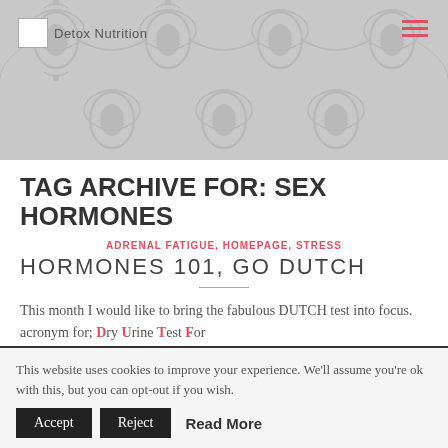[Figure (other): Website header banner with decorative grey damask/floral pattern background, logo image placeholder, 'Detox Nutrition' text, and hamburger menu icon in red/pink on the right]
TAG ARCHIVE FOR: SEX HORMONES
ADRENAL FATIGUE, HOMEPAGE, STRESS
HORMONES 101, GO DUTCH
This month I would like to bring the fabulous DUTCH test into focus. acronym for; Dry Urine Test For Comprehensive Hormones
This website uses cookies to improve your experience. We'll assume you're ok with this, but you can opt-out if you wish.
Accept  Reject  Read More